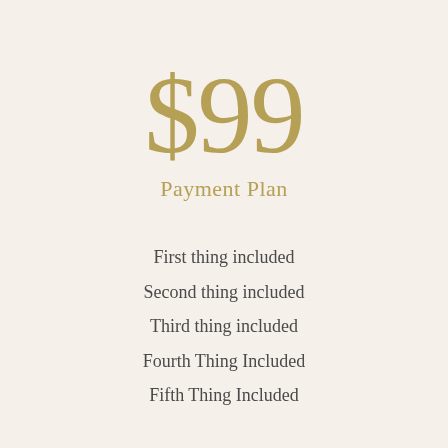$99
Payment Plan
First thing included
Second thing included
Third thing included
Fourth Thing Included
Fifth Thing Included